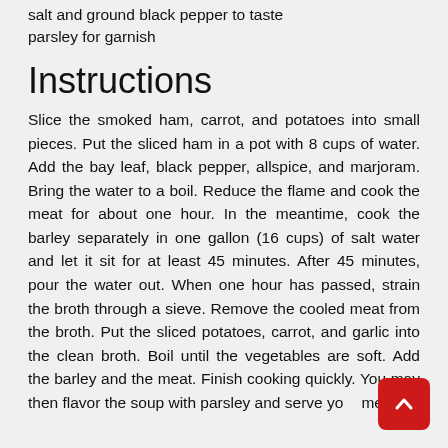salt and ground black pepper to taste
parsley for garnish
Instructions
Slice the smoked ham, carrot, and potatoes into small pieces. Put the sliced ham in a pot with 8 cups of water. Add the bay leaf, black pepper, allspice, and marjoram. Bring the water to a boil. Reduce the flame and cook the meat for about one hour. In the meantime, cook the barley separately in one gallon (16 cups) of salt water and let it sit for at least 45 minutes. After 45 minutes, pour the water out. When one hour has passed, strain the broth through a sieve. Remove the cooled meat from the broth. Put the sliced potatoes, carrot, and garlic into the clean broth. Boil until the vegetables are soft. Add the barley and the meat. Finish cooking quickly. You may then flavor the soup with parsley and serve your meal.